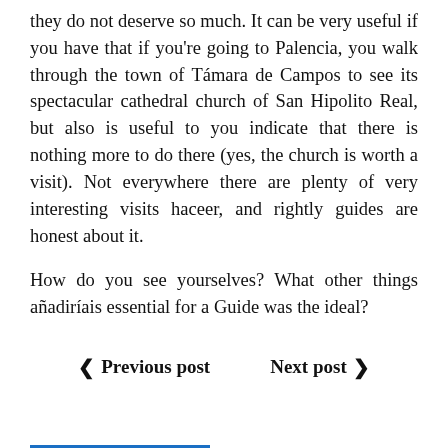they do not deserve so much. It can be very useful if you have that if you're going to Palencia, you walk through the town of Támara de Campos to see its spectacular cathedral church of San Hipolito Real, but also is useful to you indicate that there is nothing more to do there (yes, the church is worth a visit). Not everywhere there are plenty of very interesting visits haceer, and rightly guides are honest about it.
How do you see yourselves? What other things añadiríais essential for a Guide was the ideal?
‹ Previous post   Next post ›